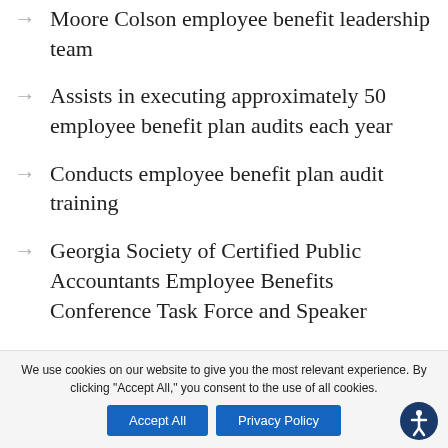Moore Colson employee benefit leadership team
Assists in executing approximately 50 employee benefit plan audits each year
Conducts employee benefit plan audit training
Georgia Society of Certified Public Accountants Employee Benefits Conference Task Force and Speaker
We use cookies on our website to give you the most relevant experience. By clicking “Accept All,” you consent to the use of all cookies.